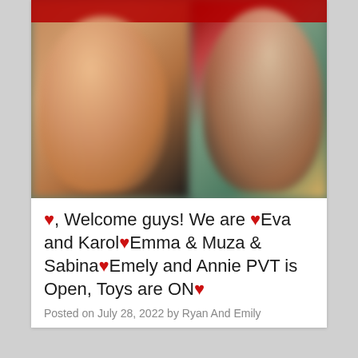[Figure (photo): Blurred photo of two people in a room with red background lighting, one on left facing camera, one on right with arms raised]
❤, Welcome guys! We are ❤Eva and Karol❤Emma & Muza & Sabina❤Emely and Annie PVT is Open, Toys are ON❤
Posted on July 28, 2022 by Ryan And Emily